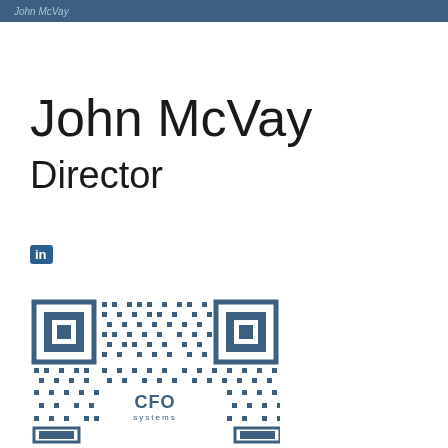John McVay
John McVay
Director
in
[Figure (other): QR code with CFO Systems logo in the center]